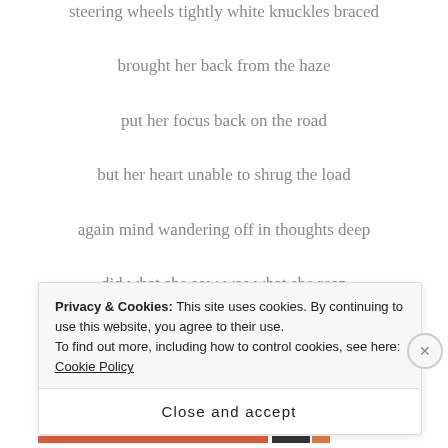steering wheels tightly white knuckles braced
brought her back from the haze
put her focus back on the road
but her heart unable to shrug the load
again mind wandering off in thoughts deep
did what she sow was what she reap
drowned in a sea of guilt
Privacy & Cookies: This site uses cookies. By continuing to use this website, you agree to their use.
To find out more, including how to control cookies, see here: Cookie Policy
Close and accept